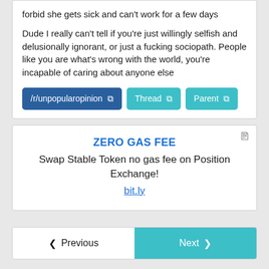forbid she gets sick and can't work for a few days
Dude I really can't tell if you're just willingly selfish and delusionally ignorant, or just a fucking sociopath. People like you are what's wrong with the world, you're incapable of caring about anyone else
/r/unpopularopinion  Thread  Parent
[Figure (screenshot): Advertisement card for ZERO GAS FEE with text 'Swap Stable Token no gas fee on Position Exchange!' and link bit.ly]
< Previous   Next >
Recently removed from